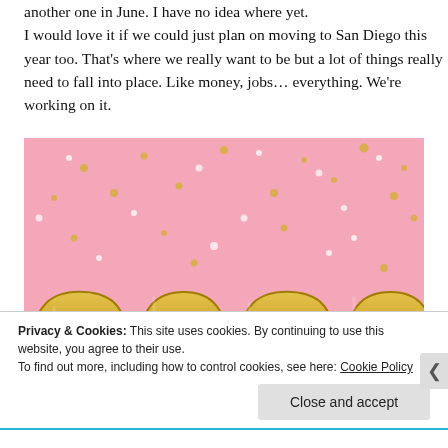another one in June. I have no idea where yet.
I would love it if we could just plan on moving to San Diego this year too. That's where we really want to be but a lot of things really need to fall into place. Like money, jobs… everything. We're working on it.
[Figure (photo): Gold foil balloon numbers spelling '2020' on a pink background with gold and white confetti scattered around]
Privacy & Cookies: This site uses cookies. By continuing to use this website, you agree to their use.
To find out more, including how to control cookies, see here: Cookie Policy
Close and accept